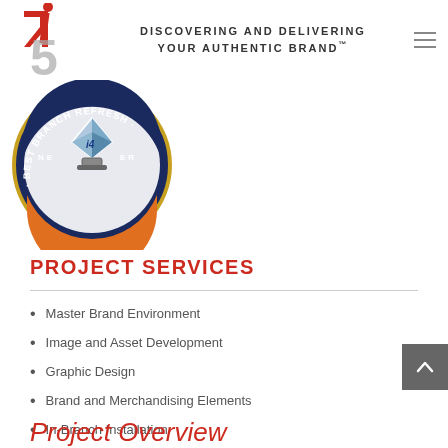[Figure (logo): i4 or i45 company logo with red/gray stylized lettering and tagline 'DISCOVERING AND DELIVERING YOUR AUTHENTIC BRAND™' with hamburger menu icon]
[Figure (photo): Award badge/seal reading 'BEST BRANCH REFRESH' with a diamond/crystal trophy graphic in the center]
PROJECT SERVICES
Master Brand Environment
Image and Asset Development
Graphic Design
Brand and Merchandising Elements
In-Branch Installation
Project Overview